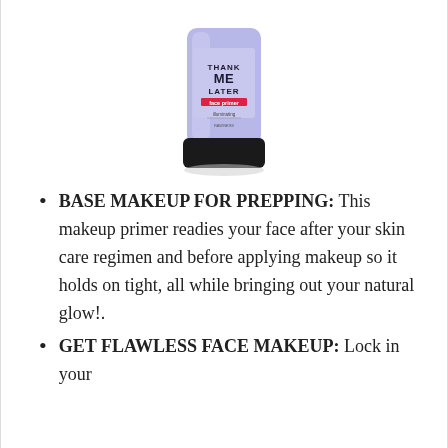[Figure (photo): A lavender/purple squeeze tube of makeup primer labeled 'THANK ME LATER face primer' with a black cap at the bottom.]
BASE MAKEUP FOR PREPPING: This makeup primer readies your face after your skin care regimen and before applying makeup so it holds on tight, all while bringing out your natural glow!.
GET FLAWLESS FACE MAKEUP: Lock in your